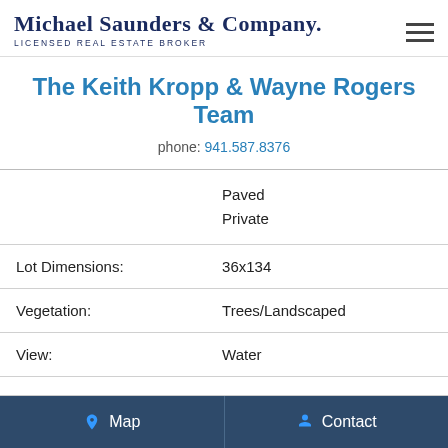Michael Saunders & Company. LICENSED REAL ESTATE BROKER
The Keith Kropp & Wayne Rogers Team
phone: 941.587.8376
|  |  |
| --- | --- |
|  | Paved
Private |
| Lot Dimensions: | 36x134 |
| Vegetation: | Trees/Landscaped |
| View: | Water |
Nearby
Map   Contact